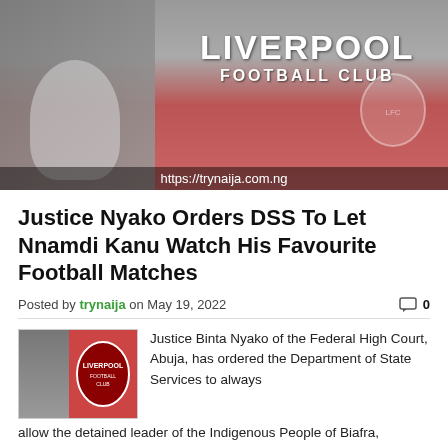[Figure (photo): Hero image showing a person in light jacket on the left and Liverpool Football Club sign/crest on a red brick wall on the right. URL overlay: https://trynaija.com.ng]
Justice Nyako Orders DSS To Let Nnamdi Kanu Watch His Favourite Football Matches
Posted by trynaija on May 19, 2022   0
[Figure (photo): Small thumbnail image showing a person next to Liverpool FC crest/badge on red background]
Justice Binta Nyako of the Federal High Court, Abuja, has ordered the Department of State Services to always allow the detained leader of the Indigenous People of Biafra, (IPOB), Nnamdi Kanu, to watch his favourite football matches